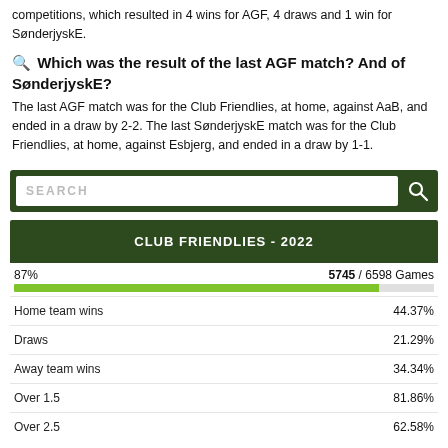competitions, which resulted in 4 wins for AGF, 4 draws and 1 win for SønderjyskE.
🔍 Which was the result of the last AGF match? And of SønderjyskE?
The last AGF match was for the Club Friendlies, at home, against AaB, and ended in a draw by 2-2. The last SønderjyskE match was for the Club Friendlies, at home, against Esbjerg, and ended in a draw by 1-1.
[Figure (other): Search bar with dark green background and magnifying glass icon]
CLUB FRIENDLIES - 2022
| Stat | Value |
| --- | --- |
| 87% | 5745 / 6598 Games |
| Home team wins | 44.37% |
| Draws | 21.29% |
| Away team wins | 34.34% |
| Over 1.5 | 81.86% |
| Over 2.5 | 62.58% |